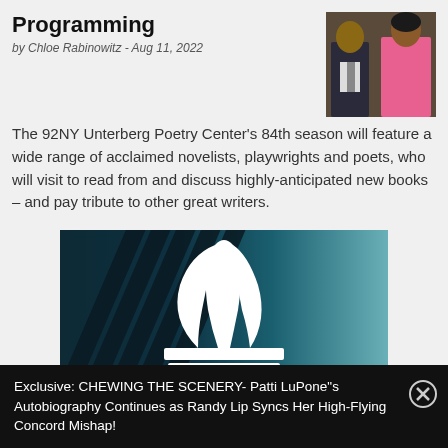Programming
by Chloe Rabinowitz - Aug 11, 2022
[Figure (photo): Two people posing together, one in a pink outfit]
The 92NY Unterberg Poetry Center's 84th season will feature a wide range of acclaimed novelists, playwrights and poets, who will visit to read from and discuss highly-anticipated new books – and pay tribute to other great writers.
[Figure (logo): Adidas trefoil logo in white on a dark teal/blue background with dark diagonal lines on the left side]
Exclusive: CHEWING THE SCENERY- Patti LuPone"s Autobiography Continues as Randy Lip Syncs Her High-Flying Concord Mishap!